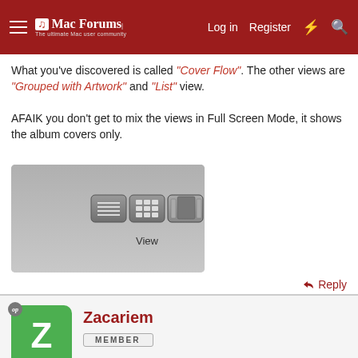Mac Forums - Log in | Register
What you've discovered is called "Cover Flow". The other views are "Grouped with Artwork" and "List" view.
AFAIK you don't get to mix the views in Full Screen Mode, it shows the album covers only.
[Figure (screenshot): Screenshot of iTunes toolbar showing View buttons (list, grouped, cover flow) and a search field, with 'View' label below]
Reply
Zacariem - MEMBER
Apr 21, 2007   #3
oh ok